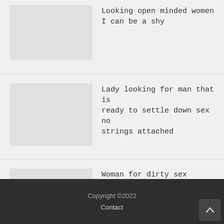Looking open minded women I can be a shy
Lady looking for man that is ready to settle down sex no strings attached
Woman for dirty sex threesome dreams a reality in Melbourne
Copyright ©2022  Contact